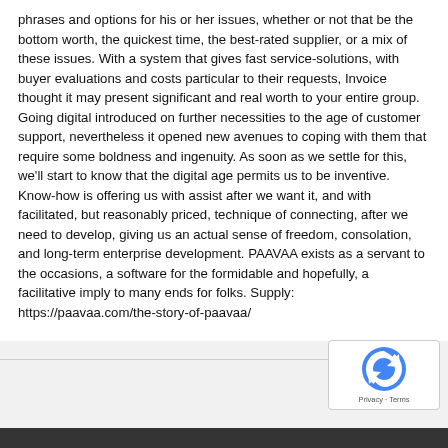phrases and options for his or her issues, whether or not that be the bottom worth, the quickest time, the best-rated supplier, or a mix of these issues. With a system that gives fast service-solutions, with buyer evaluations and costs particular to their requests, Invoice thought it may present significant and real worth to your entire group. Going digital introduced on further necessities to the age of customer support, nevertheless it opened new avenues to coping with them that require some boldness and ingenuity. As soon as we settle for this, we'll start to know that the digital age permits us to be inventive. Know-how is offering us with assist after we want it, and with facilitated, but reasonably priced, technique of connecting, after we need to develop, giving us an actual sense of freedom, consolation, and long-term enterprise development. PAAVAA exists as a servant to the occasions, a software for the formidable and hopefully, a facilitative imply to many ends for folks. Supply: https://paavaa.com/the-story-of-paavaa/